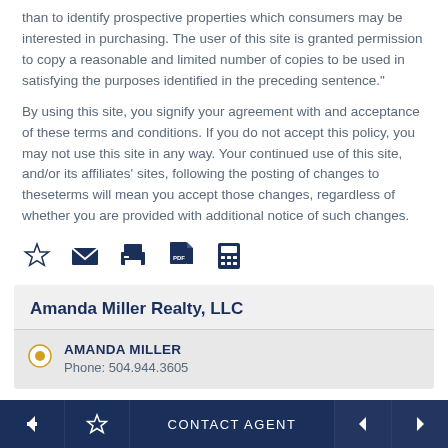than to identify prospective properties which consumers may be interested in purchasing. The user of this site is granted permission to copy a reasonable and limited number of copies to be used in satisfying the purposes identified in the preceding sentence."
By using this site, you signify your agreement with and acceptance of these terms and conditions. If you do not accept this policy, you may not use this site in any way. Your continued use of this site, and/or its affiliates' sites, following the posting of changes to theseterms will mean you accept those changes, regardless of whether you are provided with additional notice of such changes.
[Figure (infographic): Row of 5 action icons in dark navy blue: star/favorite, envelope/email, printer, PDF/document, calculator]
Amanda Miller Realty, LLC
AMANDA MILLER
Phone: 504.944.3605
Back | Star | CONTACT AGENT | Previous | Next